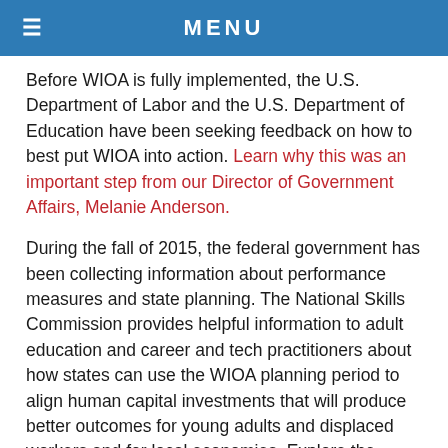MENU
Before WIOA is fully implemented, the U.S. Department of Labor and the U.S. Department of Education have been seeking feedback on how to best put WIOA into action. Learn why this was an important step from our Director of Government Affairs, Melanie Anderson.
During the fall of 2015, the federal government has been collecting information about performance measures and state planning. The National Skills Commission provides helpful information to adult education and career and tech practitioners about how states can use the WIOA planning period to align human capital investments that will produce better outcomes for young adults and displaced workers and for local economies. Explore the commission's webinars and fact sheets.
“This is not a win for Democrats or Republicans. It